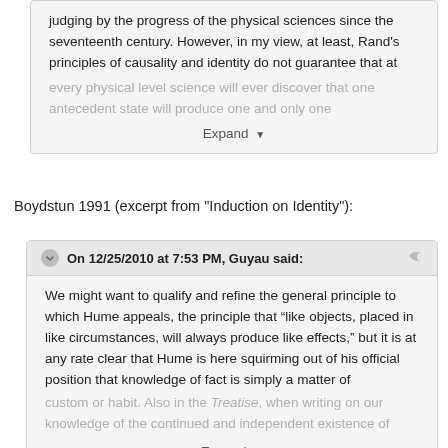judging by the progress of the physical sciences since the seventeenth century. However, in my view, at least, Rand's principles of causality and identity do not guarantee that at every physical level science will ever discover that one antecedent state will produce one and only one
Expand
Boydstun 1991 (excerpt from "Induction on Identity"):
On 12/25/2010 at 7:53 PM, Guyau said:
We might want to qualify and refine the general principle to which Hume appeals, the principle that “like objects, placed in like circumstances, will always produce like effects,” but it is at any rate clear that Hume is here squirming out of his official position that knowledge of fact is simply a matter of custom or habit. Also in the Treatise, when writing on our knowledge of the continued and independent existence of
Expand